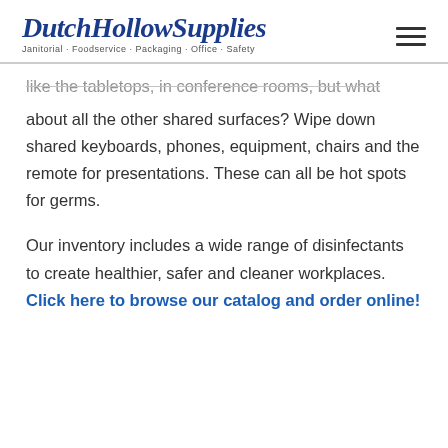[Figure (logo): Dutch Hollow Supplies logo with italic blue text and tagline: Janitorial · Foodservice · Packaging · Office · Safety]
like the tabletops, in conference rooms, but what about all the other shared surfaces? Wipe down shared keyboards, phones, equipment, chairs and the remote for presentations. These can all be hot spots for germs.
Our inventory includes a wide range of disinfectants to create healthier, safer and cleaner workplaces. Click here to browse our catalog and order online!